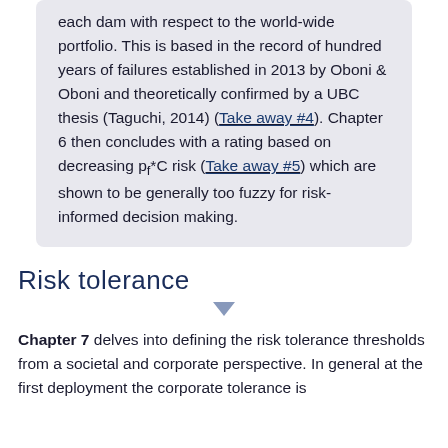each dam with respect to the world-wide portfolio. This is based in the record of hundred years of failures established in 2013 by Oboni & Oboni and theoretically confirmed by a UBC thesis (Taguchi, 2014) (Take away #4). Chapter 6 then concludes with a rating based on decreasing pf*C risk (Take away #5) which are shown to be generally too fuzzy for risk-informed decision making.
Risk tolerance
Chapter 7 delves into defining the risk tolerance thresholds from a societal and corporate perspective. In general at the first deployment the corporate tolerance is